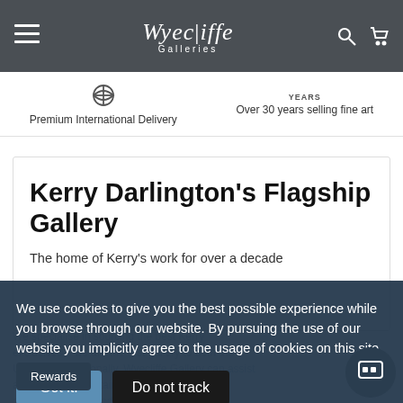Wyecliffe Galleries — navigation header
Premium International Delivery
Over 30 years selling fine art
Kerry Darlington's Flagship Gallery
The home of Kerry's work for over a decade
We use cookies to give you the best possible experience while you browse through our website. By pursuing the use of our website you implicitly agree to the usage of cookies on this site.
Got it!
Do not track